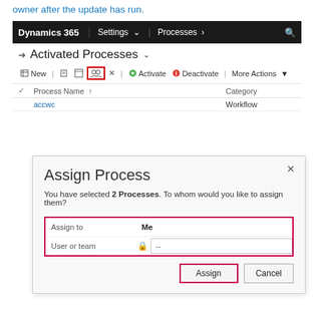owner after the update has run.
[Figure (screenshot): Dynamics 365 screenshot showing Activated Processes list with a highlighted Assign icon in the toolbar, displaying an 'accwc' workflow process. Below is an 'Assign Process' dialog with 'Assign to: Me' field highlighted in red border, 'User or team' field, and 'Assign' (highlighted) and 'Cancel' buttons.]